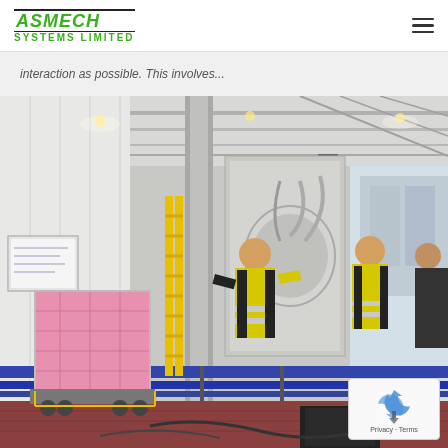ASMECH SYSTEMS LIMITED
interaction as possible. This involves...
[Figure (photo): Industrial factory floor showing a conveyor/filling production line. Two workers wearing yellow hi-vis vests are inspecting machinery. A large pink IBC container is visible on the left. The facility has a high ceiling with industrial lighting and a traffic-light style indicator column.]